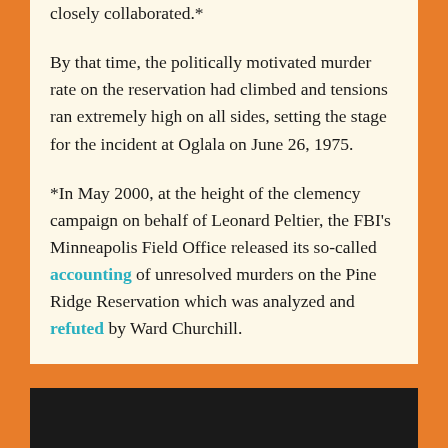closely collaborated.*

By that time, the politically motivated murder rate on the reservation had climbed and tensions ran extremely high on all sides, setting the stage for the incident at Oglala on June 26, 1975.

*In May 2000, at the height of the clemency campaign on behalf of Leonard Peltier, the FBI's Minneapolis Field Office released its so-called accounting of unresolved murders on the Pine Ridge Reservation which was analyzed and refuted by Ward Churchill.